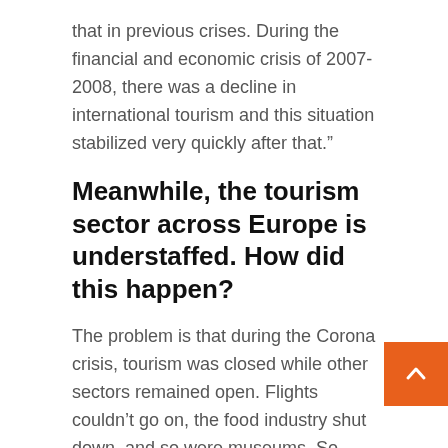that in previous crises. During the financial and economic crisis of 2007-2008, there was a decline in international tourism and this situation stabilized very quickly after that.”
Meanwhile, the tourism sector across Europe is understaffed. How did this happen?
The problem is that during the Corona crisis, tourism was closed while other sectors remained open. Flights couldn’t go on, the food industry shut down, and so were museums. So places with technical unemployment arose and in the meantime many of these workers were employed in another sector. N… that the tourism industry is operating normally, th… people tend not to immediately return to work on weekends, long hours and flexible work schedules…